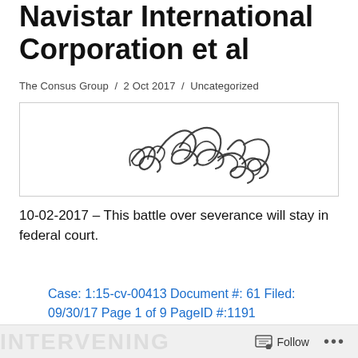Navistar International Corporation et al
The Consus Group  /  2 Oct 2017  /  Uncategorized
[Figure (illustration): A handwritten signature in black ink, displayed inside a bordered rectangle box.]
10-02-2017 – This battle over severance will stay in federal court.
Case: 1:15-cv-00413 Document #: 61 Filed: 09/30/17 Page 1 of 9 PageID #:1191
INTERVENING   Follow  •••